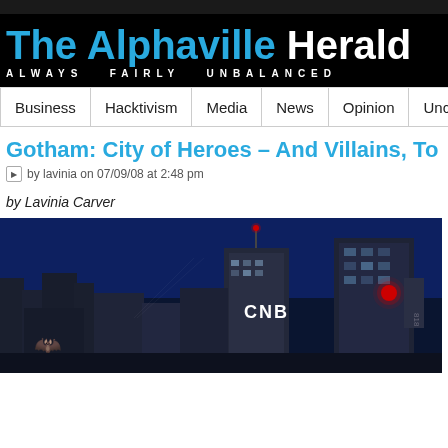The Alphaville Herald — ALWAYS FAIRLY UNBALANCED
Business | Hacktivism | Media | News | Opinion | Unc…
Gotham: City of Heroes – And Villains, To…
by lavinia on 07/09/08 at 2:48 pm
by Lavinia Carver
[Figure (screenshot): A dark 3D rendered cityscape resembling Gotham, with dark blue sky and grey buildings, including a skyscraper with 'CNB' signage and a building with a red glowing light. A bat signal is faintly visible.]